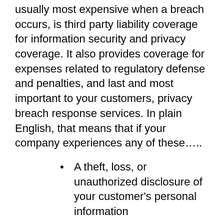usually most expensive when a breach occurs, is third party liability coverage for information security and privacy coverage. It also provides coverage for expenses related to regulatory defense and penalties, and last and most important to your customers, privacy breach response services. In plain English, that means that if your company experiences any of these…..
A theft, loss, or unauthorized disclosure of your customer's personal information
If you were attacked and experienced destruction of data,
If your computer systems were the target of a denial of service attack or